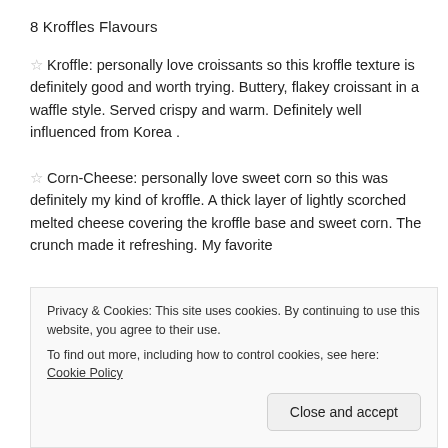8 Kroffles Flavours
☆ Kroffle: personally love croissants so this kroffle texture is definitely good and worth trying. Buttery, flakey croissant in a waffle style. Served crispy and warm. Definitely well influenced from Korea .
☆ Corn-Cheese: personally love sweet corn so this was definitely my kind of kroffle. A thick layer of lightly scorched melted cheese covering the kroffle base and sweet corn. The crunch made it refreshing. My favorite
Privacy & Cookies: This site uses cookies. By continuing to use this website, you agree to their use.
To find out more, including how to control cookies, see here: Cookie Policy
Close and accept